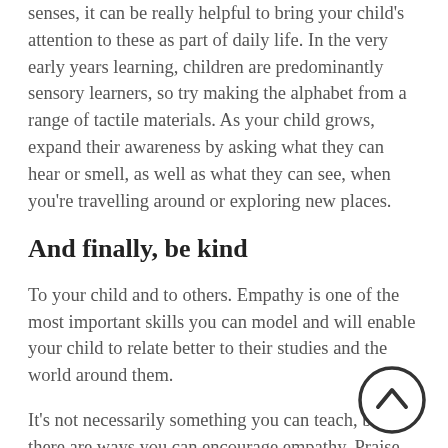senses, it can be really helpful to bring your child's attention to these as part of daily life. In the very early years learning, children are predominantly sensory learners, so try making the alphabet from a range of tactile materials. As your child grows, expand their awareness by asking what they can hear or smell, as well as what they can see, when you're travelling around or exploring new places.
And finally, be kind
To your child and to others. Empathy is one of the most important skills you can model and will enable your child to relate better to their studies and the world around them.
It's not necessarily something you can teach, but there are ways you can encourage empathy. Praise your child's kindness towards others, or ask them to